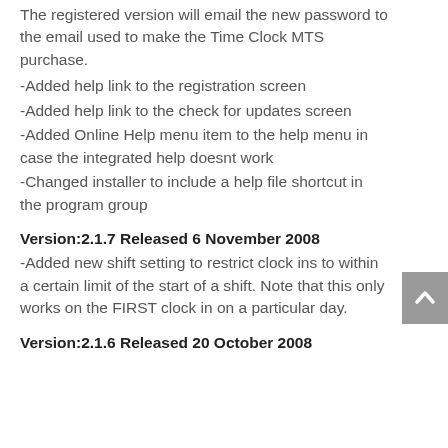The registered version will email the new password to the email used to make the Time Clock MTS purchase.
-Added help link to the registration screen
-Added help link to the check for updates screen
-Added Online Help menu item to the help menu in case the integrated help doesnt work
-Changed installer to include a help file shortcut in the program group
Version:2.1.7 Released 6 November 2008
-Added new shift setting to restrict clock ins to within a certain limit of the start of a shift. Note that this only works on the FIRST clock in on a particular day.
Version:2.1.6 Released 20 October 2008